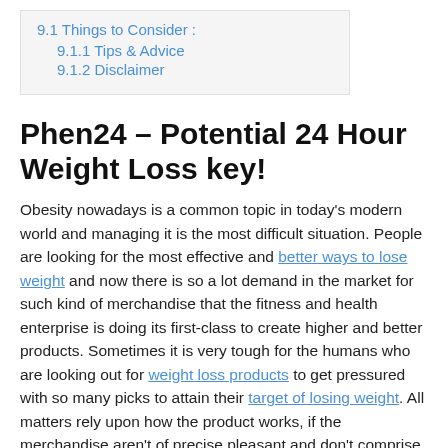9.1 Things to Consider :
9.1.1 Tips & Advice
9.1.2 Disclaimer
Phen24 – Potential 24 Hour Weight Loss key!
Obesity nowadays is a common topic in today's modern world and managing it is the most difficult situation. People are looking for the most effective and better ways to lose weight and now there is so a lot demand in the market for such kind of merchandise that the fitness and health enterprise is doing its first-class to create higher and better products. Sometimes it is very tough for the humans who are looking out for weight loss products to get pressured with so many picks to attain their target of losing weight. All matters rely upon how the product works, if the merchandise aren't of precise pleasant and don't comprise effective, effective